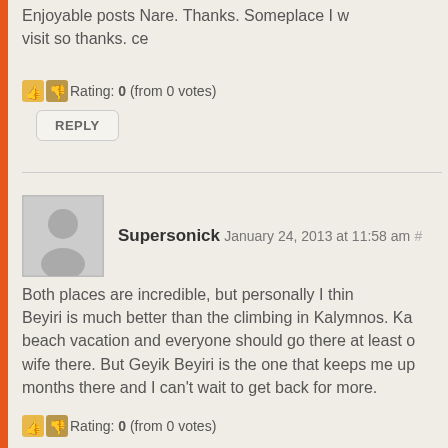Enjoyable posts Nare. Thanks. Someplace I will visit so thanks. ce
Rating: 0 (from 0 votes)
REPLY
Supersonick January 24, 2013 at 11:58 am #
Both places are incredible, but personally I think Beyiri is much better than the climbing in Kalymnos. Kal beach vacation and everyone should go there at least o wife there. But Geyik Beyiri is the one that keeps me up months there and I can't wait to get back for more.
Rating: 0 (from 0 votes)
REPLY